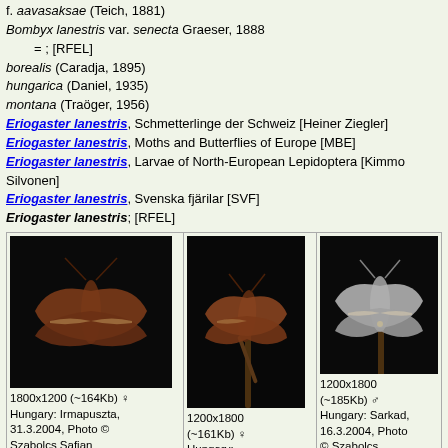f. aavasaksae (Teich, 1881)
Bombyx lanestris var. senecta Graeser, 1888
    = ; [RFEL]
borealis (Caradja, 1895)
hungarica (Daniel, 1935)
montana (Traöger, 1956)
Eriogaster lanestris, Schmetterlinge der Schweiz [Heiner Ziegler]
Eriogaster lanestris, Moths and Butterflies of Europe [MBE]
Eriogaster lanestris, Larvae of North-European Lepidoptera [Kimmo Silvonen]
Eriogaster lanestris, Svenska fjärilar [SVF]
Eriogaster lanestris; [RFEL]
[Figure (photo): Moth specimen photo, brown moth with wings spread, black background. 1800x1200 (~164Kb) female. Hungary: Irmapuszta, 31.3.2004, Photo © Szabolcs Safian]
[Figure (photo): Moth specimen photo, brown moth on twig, black background. 1200x1800 (~161Kb) female. Hungary: Irmapuszta, 31.3.2004, Photo © Szabolcs Safian]
[Figure (photo): Moth specimen photo, pale/grey moth with wings spread, black background. 1200x1800 (~185Kb) male. Hungary: Sarkad, 16.3.2004, Photo © Szabolcs Safian]